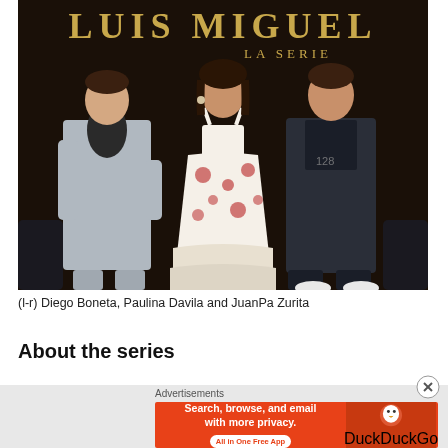[Figure (photo): Three people standing in front of a dark backdrop reading 'LUIS MIGUEL LA SERIE' in gold letters. Left: man in grey suit and black turtleneck. Center: woman in floral white and red dress. Right: young man in dark jacket.]
(l-r) Diego Boneta, Paulina Davila and JuanPa Zurita
About the series
[Figure (screenshot): Advertisement banner: DuckDuckGo ad reading 'Search, browse, and email with more privacy. All in One Free App' with DuckDuckGo logo on right side. Red background.]